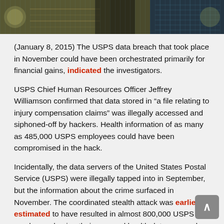[Figure (photo): A decorative banner image showing US currency bills and digital/circuit board elements, creating a cybersecurity/financial theme.]
(January 8, 2015) The USPS data breach that took place in November could have been orchestrated primarily for financial gains, indicated the investigators.
USPS Chief Human Resources Officer Jeffrey Williamson confirmed that data stored in “a file relating to injury compensation claims” was illegally accessed and siphoned-off by hackers. Health information of as many as 485,000 USPS employees could have been compromised in the hack.
Incidentally, the data servers of the United States Postal Service (USPS) were illegally tapped into in September, but the information about the crime surfaced in November. The coordinated stealth attack was earlier estimated to have resulted in almost 800,000 USPS employees having their personal health data exposed. However, these earlier estimates were greatly exaggerated, stated Williamson.